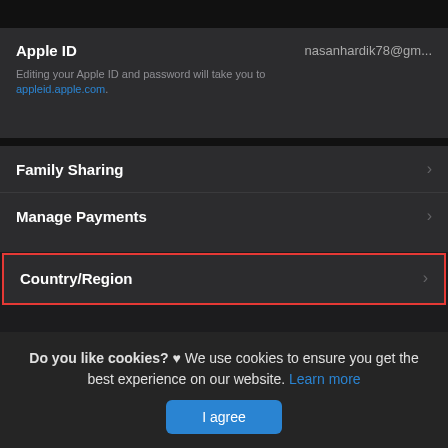[Figure (screenshot): Apple iOS settings screen showing Apple ID, Family Sharing, Manage Payments, and Country/Region menu items in dark mode. Country/Region row is highlighted with a red border.]
Apple ID
nasanhardik78@gm...
Editing your Apple ID and password will take you to appleid.apple.com.
Family Sharing
Manage Payments
Country/Region
Do you like cookies? ♥ We use cookies to ensure you get the best experience on our website. Learn more
I agree